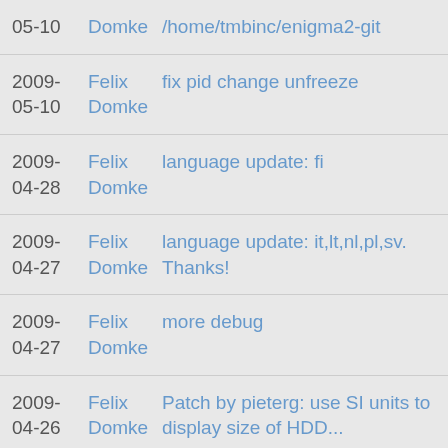2009-05-10  Felix Domke  /home/tmbinc/enigma2-git
2009-05-10  Felix Domke  fix pid change unfreeze
2009-04-28  Felix Domke  language update: fi
2009-04-27  Felix Domke  language update: it,lt,nl,pl,sv. Thanks!
2009-04-27  Felix Domke  more debug
2009-04-26  Felix Domke  Patch by pieterg: use SI units to display size of HDD...